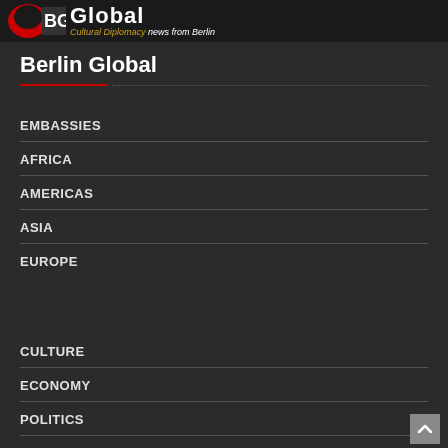BG Global — Cultural Diplomacy news from Berlin
Berlin Global
EMBASSIES
AFRICA
AMERICAS
ASIA
EUROPE
CULTURE
ECONOMY
POLITICS
TOURISM
CULTURAL DIPLOMACY NEWS